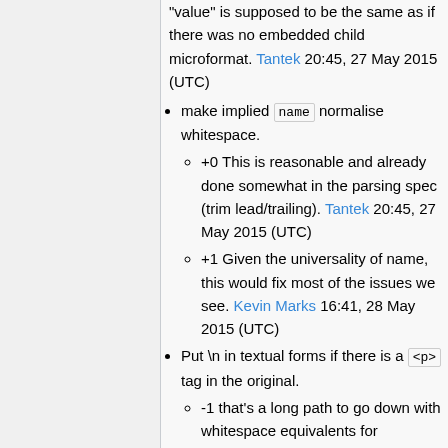"value" is supposed to be the same as if there was no embedded child microformat. Tantek 20:45, 27 May 2015 (UTC)
make implied name normalise whitespace.
+0 This is reasonable and already done somewhat in the parsing spec (trim lead/trailing). Tantek 20:45, 27 May 2015 (UTC)
+1 Given the universality of name, this would fix most of the issues we see. Kevin Marks 16:41, 28 May 2015 (UTC)
Put \n in textual forms if there is a <p> tag in the original.
-1 that's a long path to go down with whitespace equivalents for